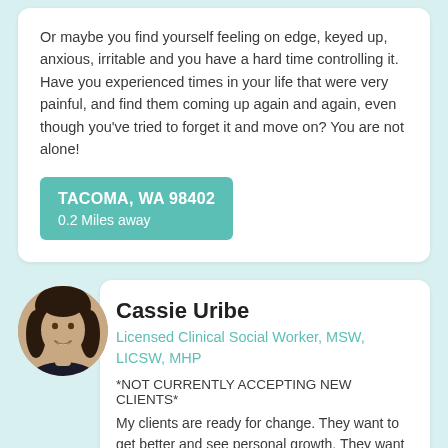Or maybe you find yourself feeling on edge, keyed up, anxious, irritable and you have a hard time controlling it. Have you experienced times in your life that were very painful, and find them coming up again and again, even though you've tried to forget it and move on? You are not alone!
TACOMA, WA 98402
0.2 Miles away
Cassie Uribe
Licensed Clinical Social Worker, MSW, LICSW, MHP
*NOT CURRENTLY ACCEPTING NEW CLIENTS*
My clients are ready for change. They want to get better and see personal growth. They want to live up to their full potential and be happy. Some of my clients know something needs to change but don't know exactly